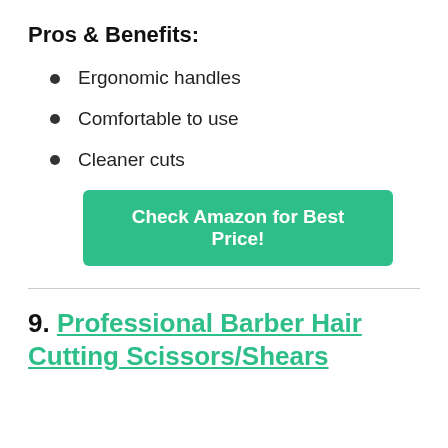Pros & Benefits:
Ergonomic handles
Comfortable to use
Cleaner cuts
Check Amazon for Best Price!
9. Professional Barber Hair Cutting Scissors/Shears